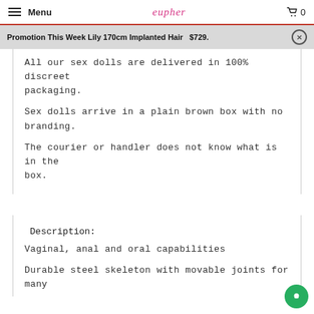Menu | eupher | 0
Promotion This Week Lily 170cm Implanted Hair  $729.
All our sex dolls are delivered in 100% discreet packaging.
Sex dolls arrive in a plain brown box with no branding.
The courier or handler does not know what is in the box.
Description:
Vaginal, anal and oral capabilities
Durable steel skeleton with movable joints for many